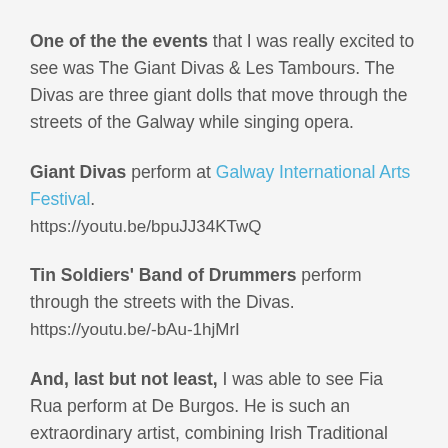One of the the events that I was really excited to see was The Giant Divas & Les Tambours. The Divas are three giant dolls that move through the streets of the Galway while singing opera.
Giant Divas perform at Galway International Arts Festival.
https://youtu.be/bpuJJ34KTwQ
Tin Soldiers' Band of Drummers perform through the streets with the Divas.
https://youtu.be/-bAu-1hjMrI
And, last but not least, I was able to see Fia Rua perform at De Burgos. He is such an extraordinary artist, combining Irish Traditional